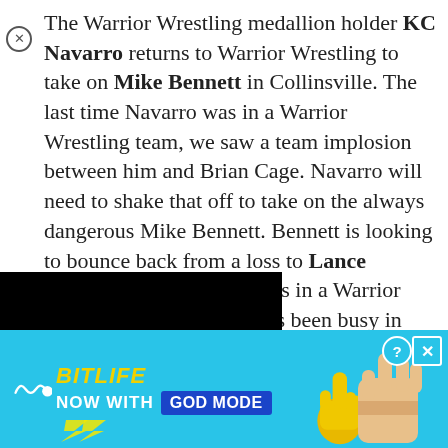The Warrior Wrestling medallion holder KC Navarro returns to Warrior Wrestling to take on Mike Bennett in Collinsville. The last time Navarro was in a Warrior Wrestling team, we saw a team implosion between him and Brian Cage. Navarro will need to shake that off to take on the always dangerous Mike Bennett. Bennett is looking to bounce back from a loss to Lance Archer the last time he was in a Warrior Wrestling ring. Bennett has been busy in IMPACT Wrestling as part of the Honor No More stable. He won't have backup from them this time and will have to take on Navarro one on one in Collinsville.
[Figure (screenshot): Black video/media player bar partially visible at bottom of article]
[Figure (infographic): BitLife advertisement banner - NOW WITH GOD MODE on cyan background with hand/thumb graphic]